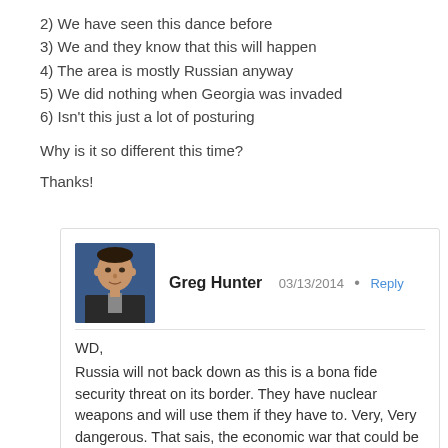2) We have seen this dance before
3) We and they know that this will happen
4) The area is mostly Russian anyway
5) We did nothing when Georgia was invaded
6) Isn't this just a lot of posturing
Why is it so different this time?
Thanks!
Greg Hunter  03/13/2014  Reply
WD,
Russia will not back down as this is a bona fide security threat on its border. They have nuclear weapons and will use them if they have to. Very, Very dangerous. That sais, the economic war that could be started could be explosive. Russia could and probably will demand payment for oil and gas in gold. I would suspect that would not be very good for the USD. China is